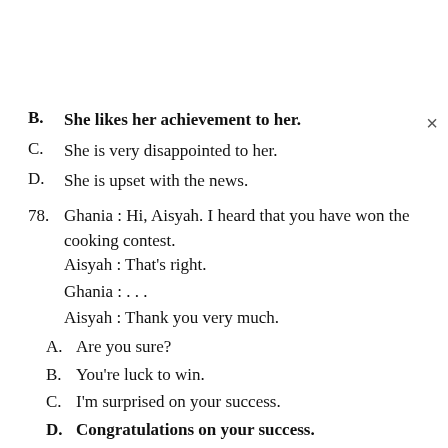B. She likes her achievement to her.
C. She is very disappointed to her.
D. She is upset with the news.
78. Ghania : Hi, Aisyah. I heard that you have won the cooking contest.
    Aisyah : That’s right.
    Ghania : . . .
    Aisyah : Thank you very much.
A. Are you sure?
B. You’re luck to win.
C. I’m surprised on your success.
D. Congratulations on your success.
79. X : Would you like to join us?